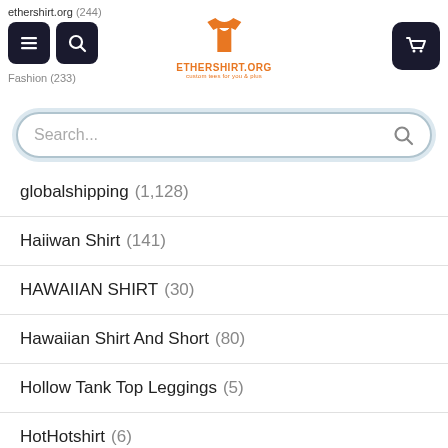ethershirt.org (244) Fashion (233)
[Figure (logo): Ethershirt.org orange t-shirt logo with ETHERSHIRT.ORG text]
Search...
globalshipping (1,128)
Haiiwan Shirt (141)
HAWAIIAN SHIRT (30)
Hawaiian Shirt And Short (80)
Hollow Tank Top Leggings (5)
HotHotshirt (6)
KYBERSHOP (138)
Leather Bomber Jacket (17)
Led Lamp (30)